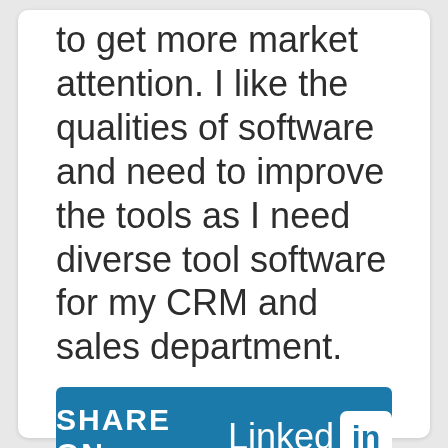to get more market attention. I like the qualities of software and need to improve the tools as I need diverse tool software for my CRM and sales department.
[Figure (other): Share on LinkedIn button — teal/blue rectangle with white text 'SHARE ON LinkedIn' and the LinkedIn 'in' logo in a white rounded square]